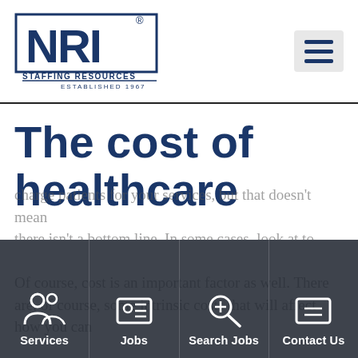[Figure (logo): NRI Staffing Resources logo — large bold blue NRI letters with registered trademark symbol, subtitle STAFFING RESOURCES underlined, ESTABLISHED 1967 below]
The cost of healthcare
Of course, cost is an important factor as well. There are, of course, some intrinsic costs that will affect how you can charge patients for your services, but that doesn't mean there isn't a bottom line. In some cases, look at what you can do to pass on savings to your patients, and to avoid building healthcare costs are in the hiring staff.
Services | Jobs | Search Jobs | Contact Us